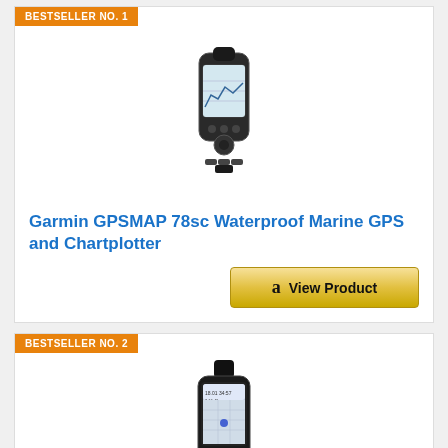BESTSELLER NO. 1
[Figure (photo): Garmin GPSMAP 78sc handheld marine GPS device, black and grey with color display showing map]
Garmin GPSMAP 78sc Waterproof Marine GPS and Chartplotter
View Product
BESTSELLER NO. 2
[Figure (photo): Garmin handheld GPS device, black, with screen showing navigation data]